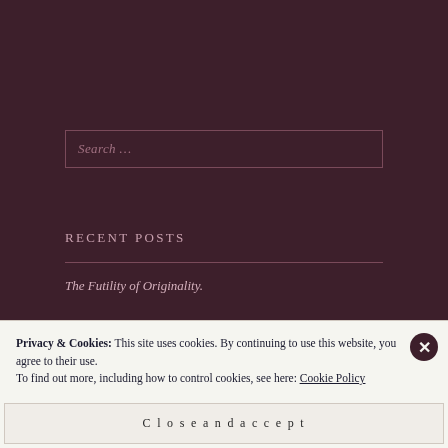Search ...
RECENT POSTS
The Futility of Originality.
Privacy & Cookies: This site uses cookies. By continuing to use this website, you agree to their use.
To find out more, including how to control cookies, see here: Cookie Policy
Close and accept
REFLECTING AS